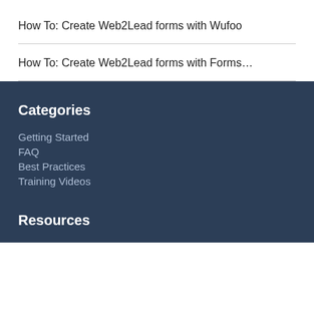How To: Create Web2Lead forms with Wufoo
How To: Create Web2Lead forms with Forms…
Categories
Getting Started
FAQ
Best Practices
Training Videos
Resources